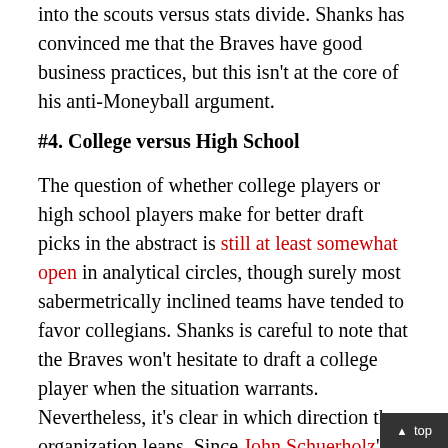into the scouts versus stats divide. Shanks has convinced me that the Braves have good business practices, but this isn't at the core of his anti-Moneyball argument.
#4. College versus High School
The question of whether college players or high school players make for better draft picks in the abstract is still at least somewhat open in analytical circles, though surely most sabermetrically inclined teams have tended to favor collegians. Shanks is careful to note that the Braves won't hesitate to draft a college player when the situation warrants. Nevertheless, it's clear in which direction the organization leans. Since John Schuerholz's first